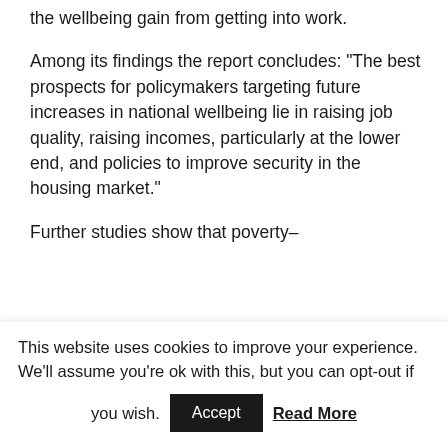the wellbeing gain from getting into work.
Among its findings the report concludes: "The best prospects for policymakers targeting future increases in national wellbeing lie in raising job quality, raising incomes, particularly at the lower end, and policies to improve security in the housing market."
Further studies show that poverty–
This website uses cookies to improve your experience. We'll assume you're ok with this, but you can opt-out if you wish. Accept Read More